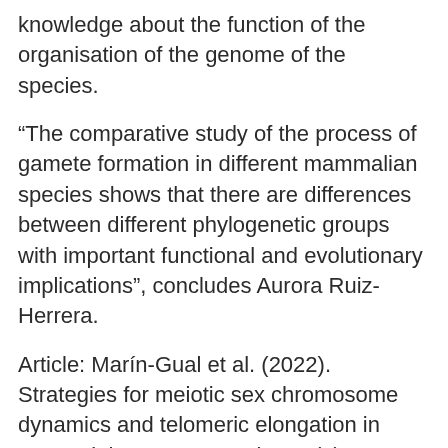knowledge about the function of the organisation of the genome of the species.
“The comparative study of the process of gamete formation in different mammalian species shows that there are differences between different phylogenetic groups with important functional and evolutionary implications”, concludes Aurora Ruiz-Herrera.
Article: Marín-Gual et al. (2022). Strategies for meiotic sex chromosome dynamics and telomeric elongation in Marsupials. PLoS Genetics 18(2): e1010040. doi: 10.1371/journal.pgen.1010040. https://dx.plos.org/10.1371/journal.pgen.1010040